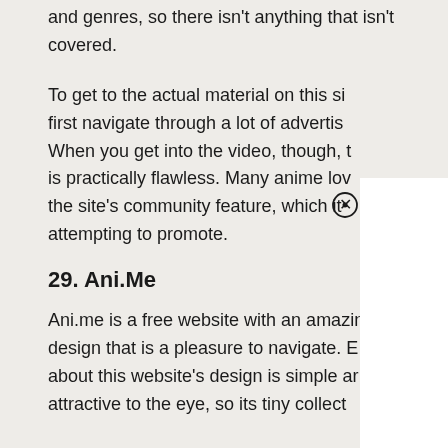and genres, so there isn't anything that isn't covered.
To get to the actual material on this site, you first navigate through a lot of advertisements. When you get into the video, though, the quality is practically flawless. Many anime lovers enjoy the site's community feature, which it is attempting to promote.
29. Ani.Me
Ani.me is a free website with an amazing design that is a pleasure to navigate. Everything about this website's design is simple and attractive to the eye, so its tiny collection